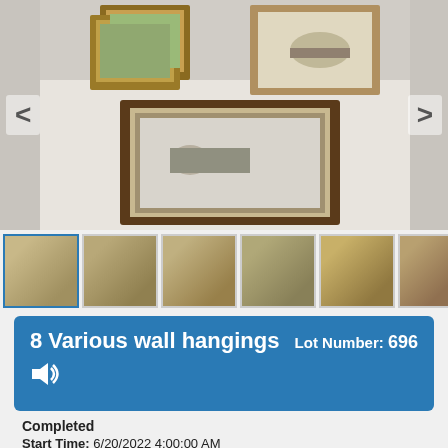[Figure (photo): Main auction image showing 8 various framed wall hangings including paintings and prints with ornate frames, displayed on a white surface. Navigation arrows on left and right sides.]
[Figure (photo): Thumbnail strip of 6 images showing different views of the wall hangings lot. First thumbnail is selected with blue border.]
8 Various wall hangings
Lot Number: 696
Completed
Start Time: 6/20/2022 4:00:00 AM